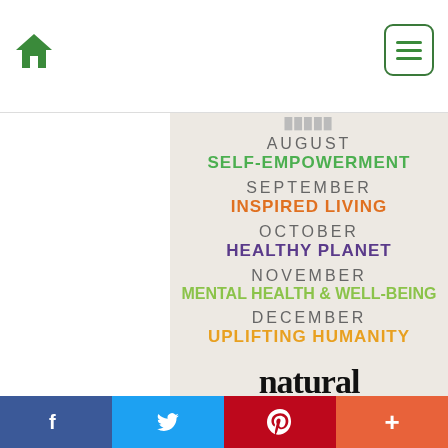[Figure (screenshot): Website navigation bar with green home icon on left and green hamburger menu button on right]
[Figure (infographic): Natural Awakenings magazine editorial calendar listing monthly themes: August SELF-EMPOWERMENT, September INSPIRED LIVING, October HEALTHY PLANET, November MENTAL HEALTH & WELL-BEING, December UPLIFTING HUMANITY, with Natural Awakenings logo at bottom]
[Figure (infographic): Social media share bar at bottom with Facebook, Twitter, Pinterest, and More buttons]